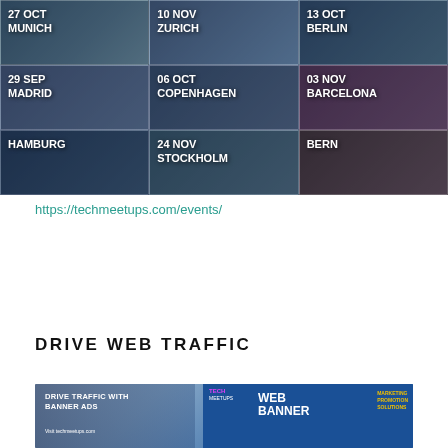[Figure (infographic): Event schedule grid showing 9 tech meetup locations: 27 Oct Munich, 10 Nov Zurich, 13 Oct Berlin, 29 Sep Madrid, 06 Oct Copenhagen, 03 Nov Barcelona, Hamburg, 24 Nov Stockholm, Bern. Each cell shows crowd photos with white text overlays.]
https://techmeetups.com/events/
DRIVE WEB TRAFFIC
[Figure (infographic): Marketing banner advertisement for TechMeetups showing web banner examples with text: DRIVE TRAFFIC WITH BANNER ADS, Visit techmeetups.com, TECH meetups WEB BANNER, MARKETING PROMOTION SOLUTIONS]